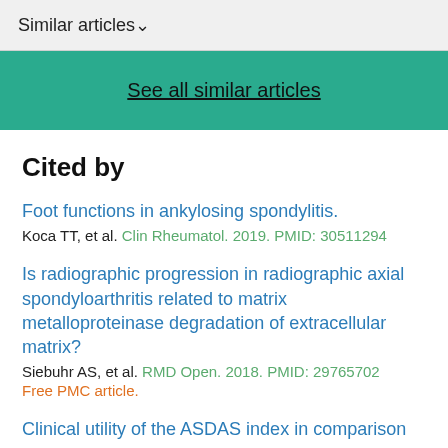Similar articles ∨
See all similar articles
Cited by
Foot functions in ankylosing spondylitis.
Koca TT, et al. Clin Rheumatol. 2019. PMID: 30511294
Is radiographic progression in radiographic axial spondyloarthritis related to matrix metalloproteinase degradation of extracellular matrix?
Siebuhr AS, et al. RMD Open. 2018. PMID: 29765702
Free PMC article.
Clinical utility of the ASDAS index in comparison